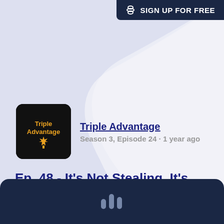SIGN UP FOR FREE
[Figure (logo): Triple Advantage podcast thumbnail: dark background with orange/yellow 'Triple Advantage' text and maple leaf logo]
Triple Advantage
Season 3, Episode 24 · 1 year ago
Ep. 48 - It's Not Stealing, It's Borrowing
[Figure (other): Dark navy podcast player bar at bottom with podcast/audio icon in center]